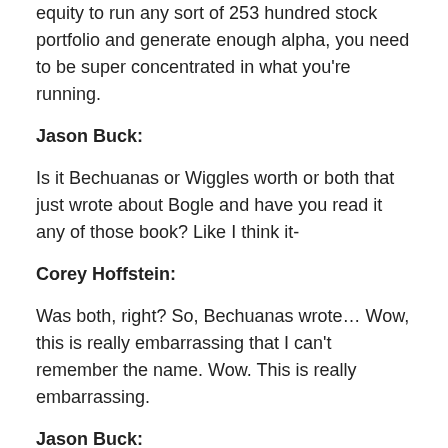equity to run any sort of 253 hundred stock portfolio and generate enough alpha, you need to be super concentrated in what you're running.
Jason Buck:
Is it Bechuanas or Wiggles worth or both that just wrote about Bogle and have you read it any of those book? Like I think it-
Corey Hoffstein:
Was both, right? So, Bechuanas wrote… Wow, this is really embarrassing that I can't remember the name. Wow. This is really embarrassing.
Jason Buck:
We'll put it in the show notes. I'll give you a second to look it up, but what he also-